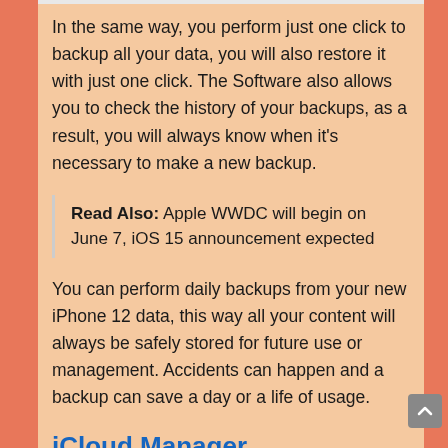In the same way, you perform just one click to backup all your data, you will also restore it with just one click. The Software also allows you to check the history of your backups, as a result, you will always know when it's necessary to make a new backup.
Read Also:  Apple WWDC will begin on June 7, iOS 15 announcement expected
You can perform daily backups from your new iPhone 12 data, this way all your content will always be safely stored for future use or management. Accidents can happen and a backup can save a day or a life of usage.
iCloud Manager
AnyTrans comes to be your perfect iPhone all-in-one app companion. For that reason, the app also comes with a